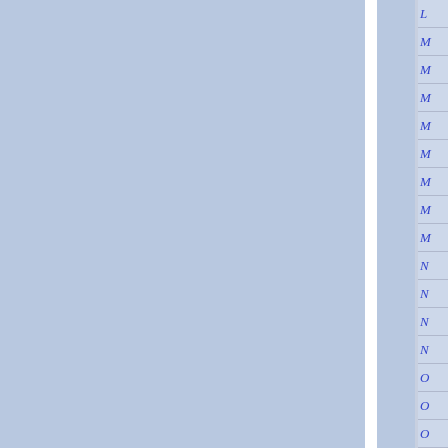[Figure (other): Page showing a blue-gray background with two large rectangular panels separated by a white vertical divider stripe. On the right edge is a narrow sidebar with rows of italic blue letters partially visible: L, M, M, M, M, M, M, M, M, N, N, N, N, O, O, O, R]
L
M
M
M
M
M
M
M
M
N
N
N
N
O
O
O
R